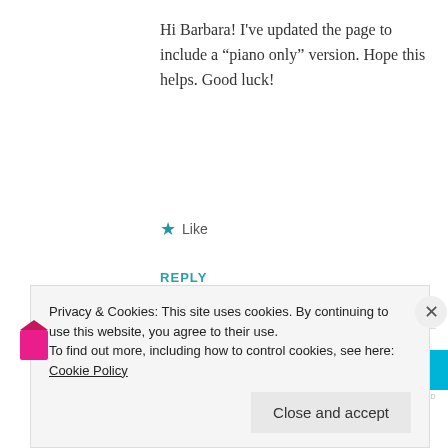Hi Barbara! I've updated the page to include a “piano only” version. Hope this helps. Good luck!
★ Like
REPLY
[Figure (other): Advertisement banner with purple and blue gradient colors]
REPORT THIS AD
Privacy & Cookies: This site uses cookies. By continuing to use this website, you agree to their use.
To find out more, including how to control cookies, see here: Cookie Policy
Close and accept